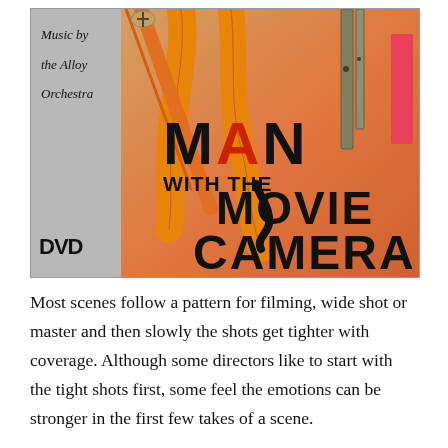[Figure (photo): DVD cover of 'Man with the Movie Camera' featuring illustrated legs and camera equipment on an orange background. Left grey sidebar reads 'Music by the Alloy Orchestra' with a DVD logo at bottom left. Bold black text shows title: MAN WITH THE MOVIE CAMERA.]
Most scenes follow a pattern for filming, wide shot or master and then slowly the shots get tighter with coverage. Although some directors like to start with the tight shots first, some feel the emotions can be stronger in the first few takes of a scene.